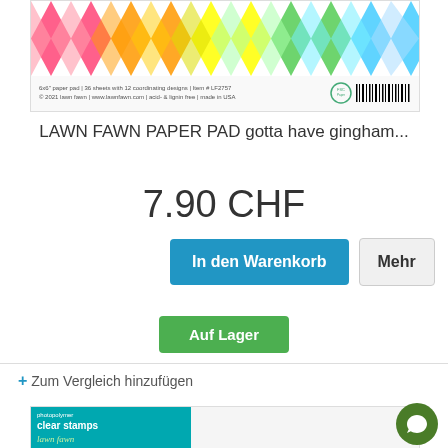[Figure (photo): Lawn Fawn paper pad product image showing argyle/gingham patterned paper in rainbow colors with product label and barcode at bottom]
LAWN FAWN PAPER PAD gotta have gingham...
7.90 CHF
In den Warenkorb
Mehr
Auf Lager
+ Zum Vergleich hinzufügen
[Figure (photo): Lawn Fawn photopolymer clear stamps product packaging showing teal/turquoise background with cartoon animals (mice, bee, deer)]